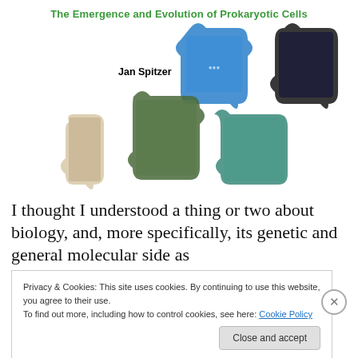The Emergence and Evolution of Prokaryotic Cells
[Figure (illustration): Collage of jigsaw puzzle pieces with various photographic images: blue mineral/chemical crystals, DNA double helix, a person/animal, rocky terrain landscape, and a teal/gold abstract texture. Author name 'Jan Spitzer' shown near the illustration.]
I thought I understood a thing or two about biology, and, more specifically, its genetic and general molecular side as
Privacy & Cookies: This site uses cookies. By continuing to use this website, you agree to their use.
To find out more, including how to control cookies, see here: Cookie Policy